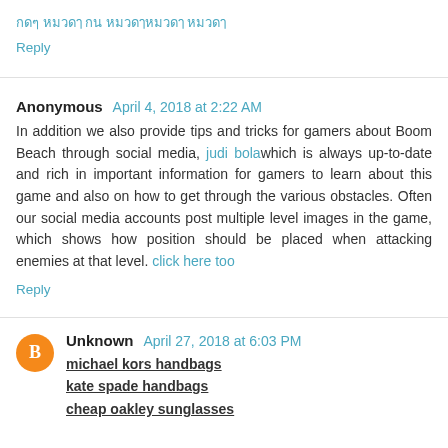กดๆ หมวดๅ กน หมวดๅหมวดๅ หมวดๅ
Reply
Anonymous April 4, 2018 at 2:22 AM
In addition we also provide tips and tricks for gamers about Boom Beach through social media, judi bolawhich is always up-to-date and rich in important information for gamers to learn about this game and also on how to get through the various obstacles. Often our social media accounts post multiple level images in the game, which shows how position should be placed when attacking enemies at that level. click here too
Reply
Unknown April 27, 2018 at 6:03 PM
michael kors handbags
kate spade handbags
cheap oakley sunglasses